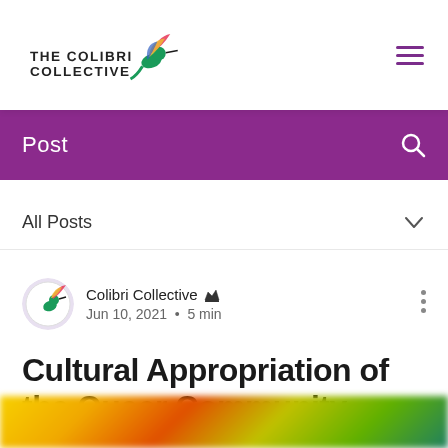[Figure (logo): The Colibri Collective logo with hummingbird]
Post
All Posts
[Figure (logo): Colibri Collective avatar icon]
Colibri Collective 👑
Jun 10, 2021 · 5 min
Cultural Appropriation of the Queer Community
[Figure (photo): Colorful blurred image at bottom of page]